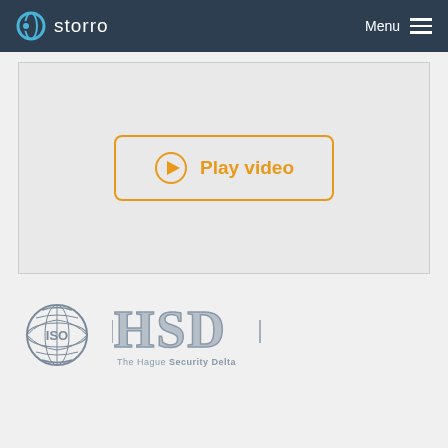storro — Menu
[Figure (other): Video player area with orange-bordered Play video button containing a play circle icon]
[Figure (logo): ISO certification logo — globe with ISO text, gray]
[Figure (logo): HSD — The Hague Security Delta logo, gray dotted letters]